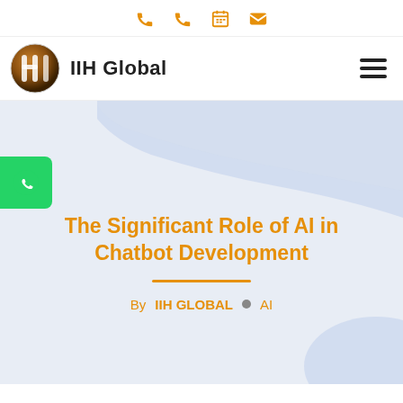[phone icon] [phone icon] [calendar icon] [email icon]
[Figure (logo): IIH Global logo - globe icon with IIH text and 'IIH Global' wordmark]
The Significant Role of AI in Chatbot Development
By IIH GLOBAL • AI